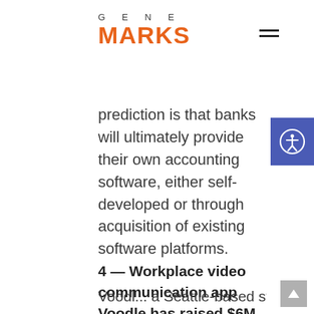GENE MARKS
prediction is that banks will ultimately provide their own accounting software, either self-developed or through acquisition of existing software platforms.
4 — Workplace video communication app Voodle has raised $6M to combat ‘Zoom fatigue and Slack overload’.
Voodl... a Seattle-based startup